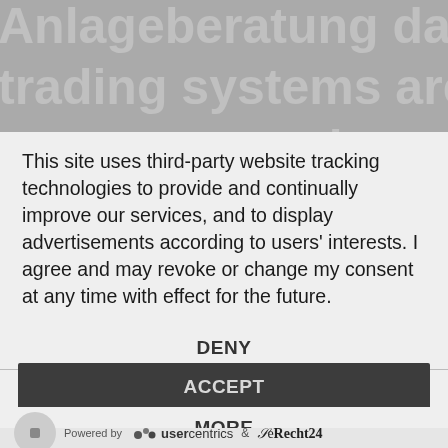Anlageberatung dar. All codes, examples and trading systems are made for the test purposes on demo accounts only
This site uses third-party website tracking technologies to provide and continually improve our services, and to display advertisements according to users' interests. I agree and may revoke or change my consent at any time with effect for the future.
DENY
ACCEPT
MORE
Powered by usercentrics & eRecht24